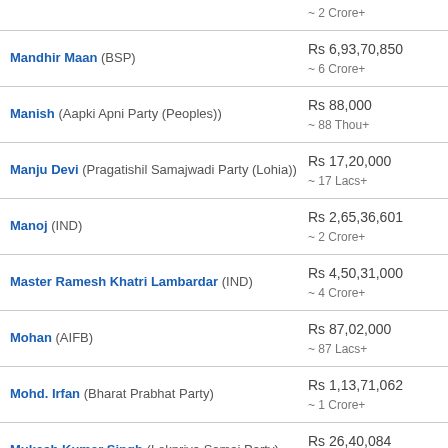Mandhir Maan (BSP) — Rs 6,93,70,850 ~ 6 Crore+
Manish (Aapki Apni Party (Peoples)) — Rs 88,000 ~ 88 Thou+
Manju Devi (Pragatishil Samajwadi Party (Lohia)) — Rs 17,20,000 ~ 17 Lacs+
Manoj (IND) — Rs 2,65,36,601 ~ 2 Crore+
Master Ramesh Khatri Lambardar (IND) — Rs 4,50,31,000 ~ 4 Crore+
Mohan (AIFB) — Rs 87,02,000 ~ 87 Lacs+
Mohd. Irfan (Bharat Prabhat Party) — Rs 1,13,71,062 ~ 1 Crore+
Mukesh Kumar Singh (Lokpriya Samaj Party) — Rs 26,40,084 ~ 26 Lacs+
Naresh Kumar (Pragatishil Samajwadi Party (Lohia)) — Rs 2,00,000 ~ 2 Lacs+